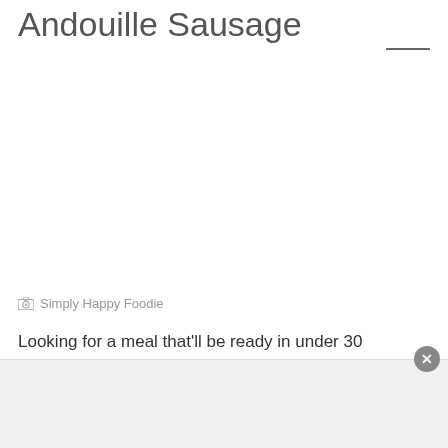Andouille Sausage
[Figure (other): Pinterest share button with dark gray background and white P icon]
[Figure (photo): Food photo area (mostly white/blank in this crop)]
Simply Happy Foodie
Looking for a meal that'll be ready in under 30 minutes? This is it! This recipe is a lot more than traditional, because it
[Figure (other): Bottom advertisement/modal bar with close button]